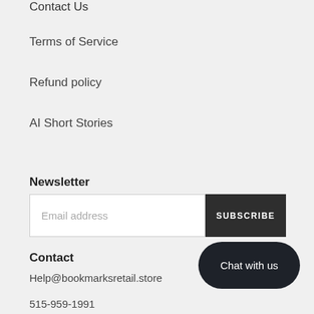Contact Us
Terms of Service
Refund policy
AI Short Stories
Newsletter
Email address
SUBSCRIBE
Contact
Help@bookmarksretail.store
Chat with us
515-959-1991